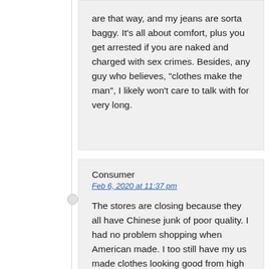are that way, and my jeans are sorta baggy. It’s all about comfort, plus you get arrested if you are naked and charged with sex crimes. Besides, any guy who believes, “clothes make the man”, I likely won’t care to talk with for very long.
Consumer
Feb 6, 2020 at 11:37 pm
The stores are closing because they all have Chinese junk of poor quality. I had no problem shopping when American made. I too still have my us made clothes looking good from high school 50 years later. I won’t wear cheaply made see